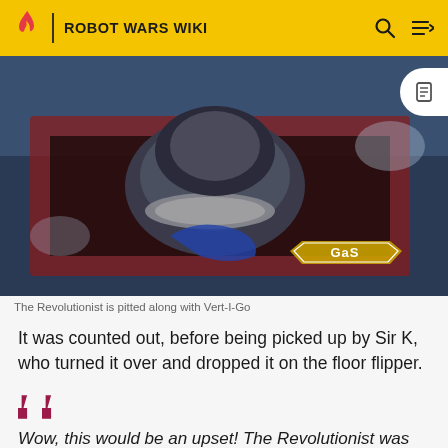ROBOT WARS WIKI
[Figure (screenshot): Screenshot from Robot Wars showing The Revolutionist being pitted along with Vert-I-Go. A robot with a spinning disc weapon is visible in the pit, with a GaS watermark in the bottom right corner.]
The Revolutionist is pitted along with Vert-I-Go
It was counted out, before being picked up by Sir K, who turned it over and dropped it on the floor flipper.
Wow, this would be an upset! The Revolutionist was